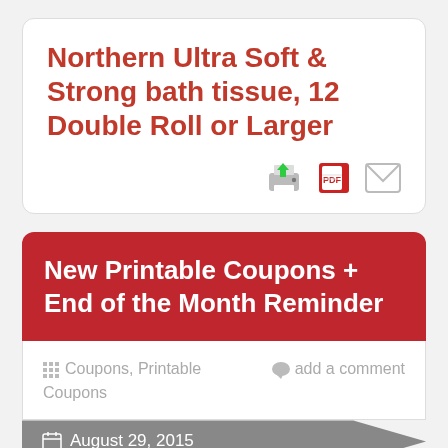Northern Ultra Soft & Strong bath tissue, 12 Double Roll or Larger
[Figure (screenshot): Row of three icons: printer with green arrow, PDF file icon, and envelope/mail icon]
New Printable Coupons + End of the Month Reminder
Coupons, Printable Coupons
add a comment
August 29, 2015